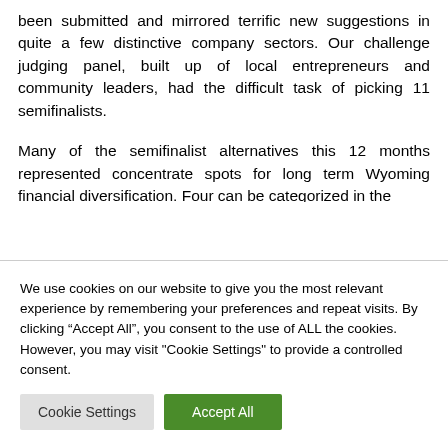been submitted and mirrored terrific new suggestions in quite a few distinctive company sectors. Our challenge judging panel, built up of local entrepreneurs and community leaders, had the difficult task of picking 11 semifinalists.
Many of the semifinalist alternatives this 12 months represented concentrate spots for long term Wyoming financial diversification. Four can be categorized in the
We use cookies on our website to give you the most relevant experience by remembering your preferences and repeat visits. By clicking “Accept All”, you consent to the use of ALL the cookies. However, you may visit "Cookie Settings" to provide a controlled consent.
Cookie Settings
Accept All